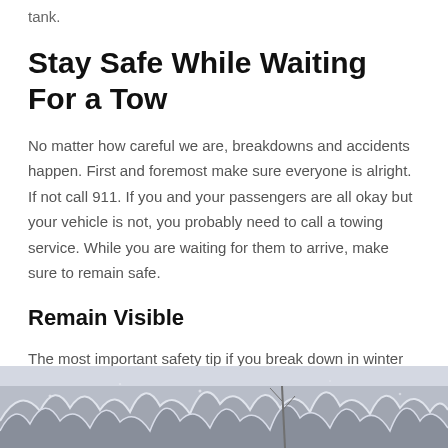tank.
Stay Safe While Waiting For a Tow
No matter how careful we are, breakdowns and accidents happen. First and foremost make sure everyone is alright. If not call 911. If you and your passengers are all okay but your vehicle is not, you probably need to call a towing service. While you are waiting for them to arrive, make sure to remain safe.
Remain Visible
The most important safety tip if you break down in winter weather is to make sure you and your car are visible. Use your hazards lights and any bright clothing such as a jacket or sweater to keep from blending in and to be seen by passing motorists.
[Figure (photo): Winter scene with snow-covered trees and bare branches, a road or path visible, grey winter sky.]